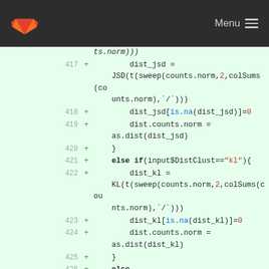GitLab Menu
[Figure (screenshot): GitLab code diff view showing lines 417-428 of a file with added lines (green background) containing R code for computing JSD, KL, and Unifrac distance metrics.]